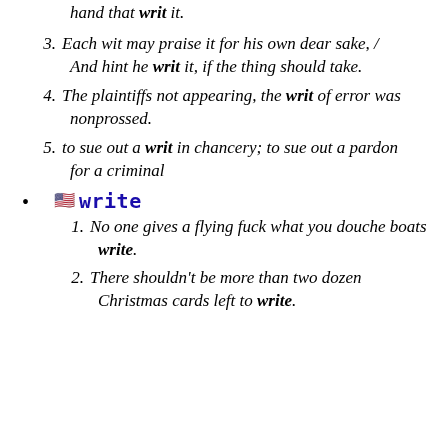hand that writ it.
3. Each wit may praise it for his own dear sake, / And hint he writ it, if the thing should take.
4. The plaintiffs not appearing, the writ of error was nonprossed.
5. to sue out a writ in chancery; to sue out a pardon for a criminal
write
1. No one gives a flying fuck what you douche boats write.
2. There shouldn't be more than two dozen Christmas cards left to write.